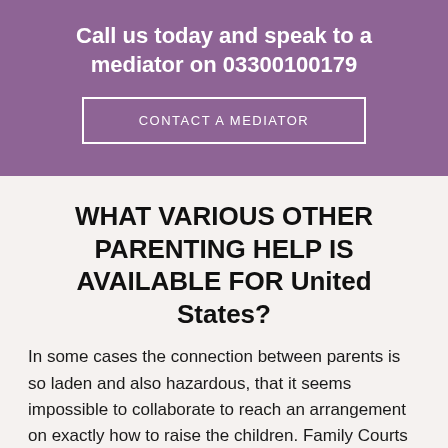Call us today and speak to a mediator on 03300100179
CONTACT A MEDIATOR
WHAT VARIOUS OTHER PARENTING HELP IS AVAILABLE FOR United States?
In some cases the connection between parents is so laden and also hazardous, that it seems impossible to collaborate to reach an arrangement on exactly how to raise the children. Family Courts can send parents on a